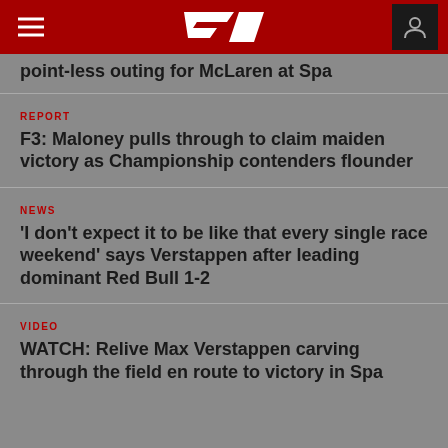F1 (logo)
point-less outing for McLaren at Spa
REPORT
F3: Maloney pulls through to claim maiden victory as Championship contenders flounder
NEWS
'I don't expect it to be like that every single race weekend' says Verstappen after leading dominant Red Bull 1-2
VIDEO
WATCH: Relive Max Verstappen carving through the field en route to victory in Spa